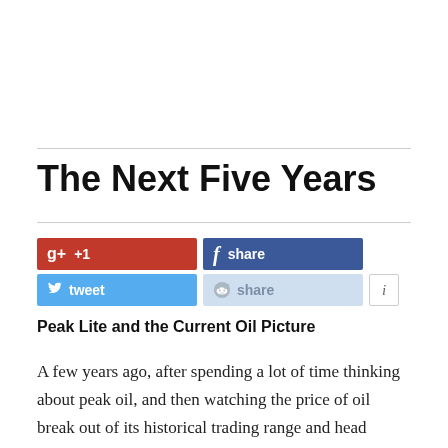The Next Five Years
[Figure (other): Social share buttons: Google+1, Facebook share, Twitter tweet, Reddit share, info button]
Peak Lite and the Current Oil Picture
A few years ago, after spending a lot of time thinking about peak oil, and then watching the price of oil break out of its historical trading range and head